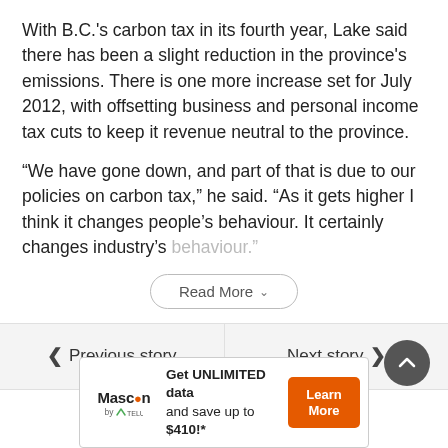With B.C.'s carbon tax in its fourth year, Lake said there has been a slight reduction in the province's emissions. There is one more increase set for July 2012, with offsetting business and personal income tax cuts to keep it revenue neutral to the province.
“We have gone down, and part of that is due to our policies on carbon tax,” he said. “As it gets higher I think it changes people’s behaviour. It certainly changes industry’s behaviour.”
Read More
Previous story
Next story
[Figure (other): Advertisement for Mascon by TELUS: Get UNLIMITED data and save up to $410!* with a Learn More button.]